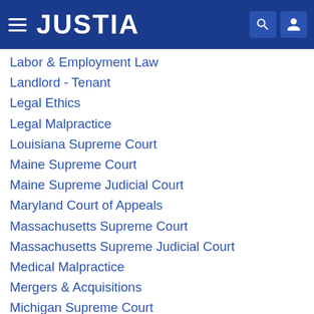JUSTIA
Labor & Employment Law
Landlord - Tenant
Legal Ethics
Legal Malpractice
Louisiana Supreme Court
Maine Supreme Court
Maine Supreme Judicial Court
Maryland Court of Appeals
Massachusetts Supreme Court
Massachusetts Supreme Judicial Court
Medical Malpractice
Mergers & Acquisitions
Michigan Supreme Court
Military Law
Minnesota Supreme Court
Mississippi Supreme Court
Missouri Supreme Court
Montana Supreme Court
Native American Law